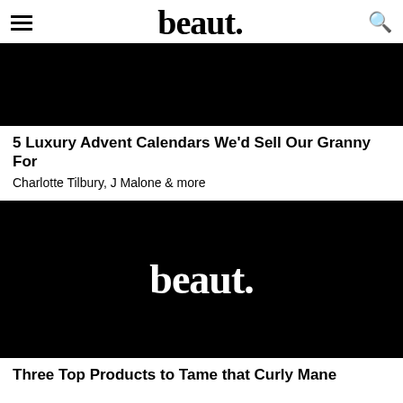beaut.
[Figure (photo): Black image banner for article 1]
5 Luxury Advent Calendars We'd Sell Our Granny For
Charlotte Tilbury, J Malone & more
[Figure (logo): Black background with white beaut. logo in center]
Three Top Products to Tame that Curly Mane